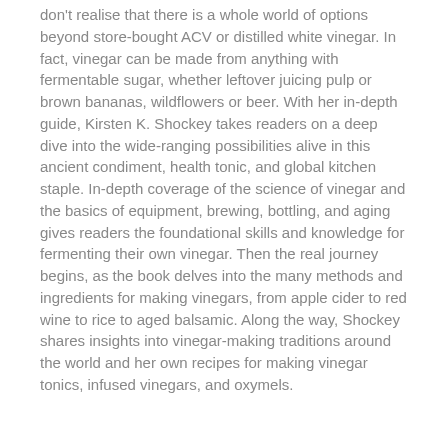don't realise that there is a whole world of options beyond store-bought ACV or distilled white vinegar. In fact, vinegar can be made from anything with fermentable sugar, whether leftover juicing pulp or brown bananas, wildflowers or beer. With her in-depth guide, Kirsten K. Shockey takes readers on a deep dive into the wide-ranging possibilities alive in this ancient condiment, health tonic, and global kitchen staple. In-depth coverage of the science of vinegar and the basics of equipment, brewing, bottling, and aging gives readers the foundational skills and knowledge for fermenting their own vinegar. Then the real journey begins, as the book delves into the many methods and ingredients for making vinegars, from apple cider to red wine to rice to aged balsamic. Along the way, Shockey shares insights into vinegar-making traditions around the world and her own recipes for making vinegar tonics, infused vinegars, and oxymels.
...